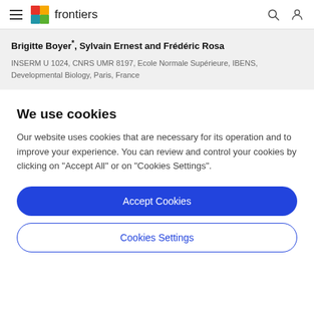frontiers
Brigitte Boyer*, Sylvain Ernest and Frédéric Rosa
INSERM U 1024, CNRS UMR 8197, Ecole Normale Supérieure, IBENS, Developmental Biology, Paris, France
We use cookies
Our website uses cookies that are necessary for its operation and to improve your experience. You can review and control your cookies by clicking on "Accept All" or on "Cookies Settings".
Accept Cookies
Cookies Settings